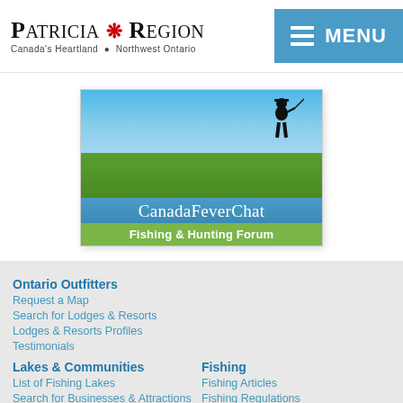[Figure (logo): Patricia Region logo with maple leaf, subtitle: Canada's Heartland • Northwest Ontario]
[Figure (screenshot): CanadaFeverChat Fishing & Hunting Forum banner ad with fisherman silhouette against sky and water background]
Ontario Outfitters
Request a Map
Search for Lodges & Resorts
Lodges & Resorts Profiles
Testimonials
Lakes & Communities
List of Fishing Lakes
Search for Businesses & Attractions
List of Businesses & Attractions
Northwest Ontario Festivals
Fishing
Fishing Articles
Fishing Regulations
Fishermen's Checklist